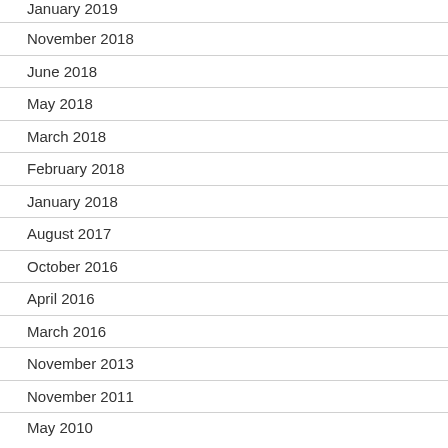January 2019
November 2018
June 2018
May 2018
March 2018
February 2018
January 2018
August 2017
October 2016
April 2016
March 2016
November 2013
November 2011
May 2010